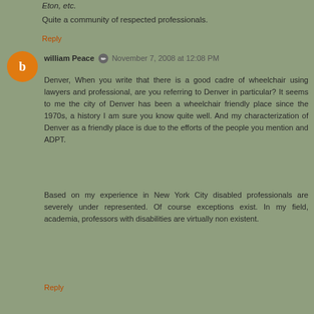Eton, etc.
Quite a community of respected professionals.
Reply
william Peace  November 7, 2008 at 12:08 PM
Denver, When you write that there is a good cadre of wheelchair using lawyers and professional, are you referring to Denver in particular? It seems to me the city of Denver has been a wheelchair friendly place since the 1970s, a history I am sure you know quite well. And my characterization of Denver as a friendly place is due to the efforts of the people you mention and ADPT.

Based on my experience in New York City disabled professionals are severely under represented. Of course exceptions exist. In my field, academia, professors with disabilities are virtually non existent.
Reply